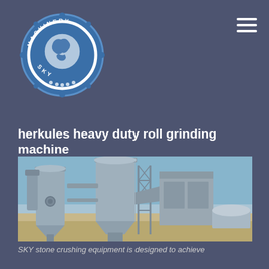[Figure (logo): SKY Machinery circular logo with globe illustration on blue badge background]
herkules heavy duty roll grinding machine
[Figure (photo): Industrial stone crushing/grinding equipment photographed outdoors in a desert environment, showing large metal cylinders, silos and scaffolding under clear blue sky]
SKY stone crushing equipment is designed to achieve